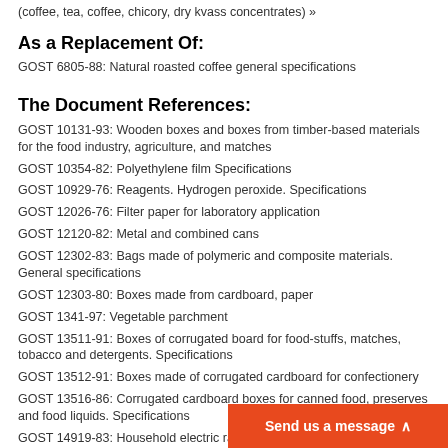(coffee, tea, coffee, chicory, dry kvass concentrates) »
As a Replacement Of:
GOST 6805-88: Natural roasted coffee general specifications
The Document References:
GOST 10131-93: Wooden boxes and boxes from timber-based materials for the food industry, agriculture, and matches
GOST 10354-82: Polyethylene film Specifications
GOST 10929-76: Reagents. Hydrogen peroxide. Specifications
GOST 12026-76: Filter paper for laboratory application
GOST 12120-82: Metal and combined cans
GOST 12302-83: Bags made of polymeric and composite materials. General specifications
GOST 12303-80: Boxes made from cardboard, paper
GOST 1341-97: Vegetable parchment
GOST 13511-91: Boxes of corrugated board for food-stuffs, matches, tobacco and detergents. Specifications
GOST 13512-91: Boxes made of corrugated cardboard for confectionery
GOST 13516-86: Corrugated cardboard boxes for canned food, preserves and food liquids. Specifications
GOST 14919-83: Household electric ra... ovens
Send us a message